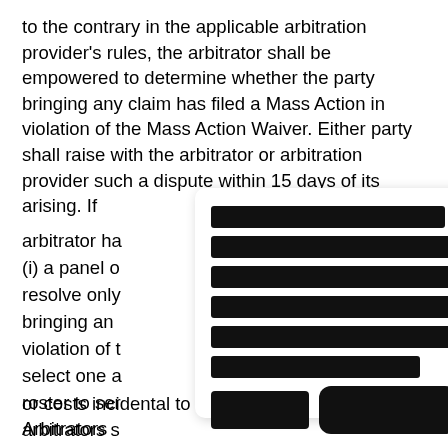to the contrary in the applicable arbitration provider's rules, the arbitrator shall be empowered to determine whether the party bringing any claim has filed a Mass Action in violation of the Mass Action Waiver. Either party shall raise with the arbitrator or arbitration provider such a dispute within 15 days of its arising. If such a dispute arises before an arbitrator has been selected, (i) a panel of arbitrators shall resolve only the dispute of the party bringing any claim who filed in violation of the Mass Action Waiver, and shall select one arbitrator from their roster to serve as the arbitrator; arbitrators shall be selected by the parties' agreement or, if the arbitrator, then before the arbitrator; (i) or costs incidental to the appointment of Arbitrators
[Figure (other): Redaction overlay panel containing multiple black redacted text bars and a button with redacted label, covering a portion of the legal document text.]